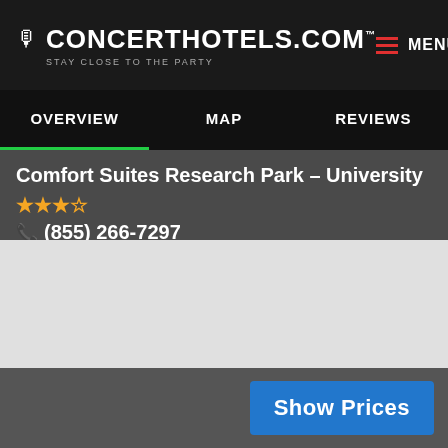CONCERTHOTELS.COM™ STAY CLOSE TO THE PARTY | MENU
OVERVIEW | MAP | REVIEWS
Comfort Suites Research Park – University ★★★☆ 📞 (855) 266-7297
[Figure (map): Map area placeholder, light grey background]
Show Prices